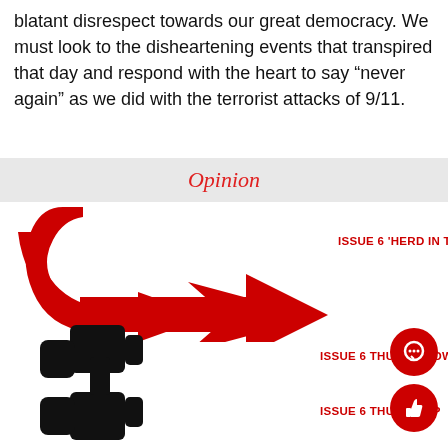blatant disrespect towards our great democracy. We must look to the disheartening events that transpired that day and respond with the heart to say “never again” as we did with the terrorist attacks of 9/11.
Opinion
[Figure (illustration): Large red curved arrow pointing right]
ISSUE 6 ‘HERD IN THE HALLWAYS’
[Figure (illustration): Black silhouette thumbs down icon]
ISSUE 6 THUMBS DOWN
ISSUE 6 THUMBS UP